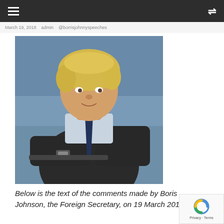Navigation bar with hamburger menu and shuffle icon
March 19, 2018  admin  @borrisjohnnyspeeches
[Figure (photo): Portrait photo of Boris Johnson, a man with blonde disheveled hair, wearing a dark suit and navy tie, with a blue-grey sky background]
Below is the text of the comments made by Boris Johnson, the Foreign Secretary, on 19 March 2018.